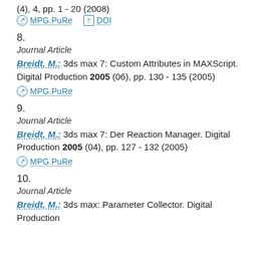(4), 4, pp. 1 - 20 (2008)
MPG.PuRe   DOI
8.
Journal Article
Breidt, M.: 3ds max 7: Custom Attributes in MAXScript. Digital Production 2005 (06), pp. 130 - 135 (2005)
MPG.PuRe
9.
Journal Article
Breidt, M.: 3ds max 7: Der Reaction Manager. Digital Production 2005 (04), pp. 127 - 132 (2005)
MPG.PuRe
10.
Journal Article
Breidt, M.: 3ds max: Parameter Collector. Digital Production